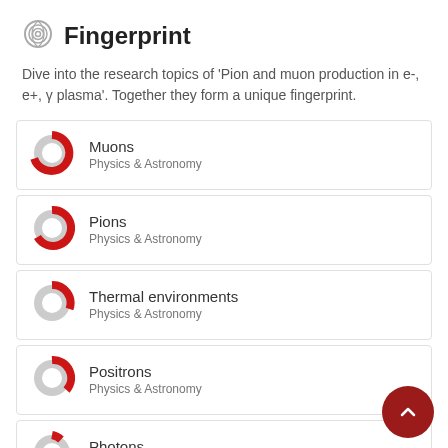Fingerprint
Dive into the research topics of 'Pion and muon production in e-, e+, γ plasma'. Together they form a unique fingerprint.
Muons — Physics & Astronomy
Pions — Physics & Astronomy
Thermal environments — Physics & Astronomy
Positrons — Physics & Astronomy
Photons — Physics & Astronomy